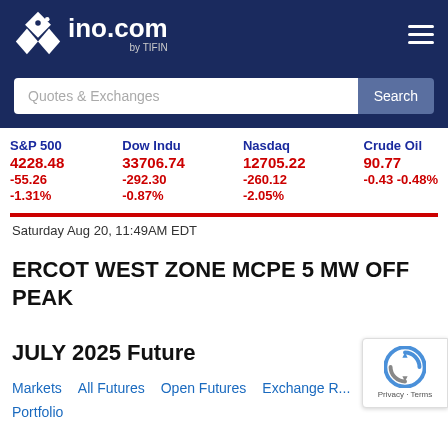ino.com by TIFIN
Quotes & Exchanges Search
| S&P 500 | Dow Indu | Nasdaq | Crude Oil |
| --- | --- | --- | --- |
| 4228.48 | 33706.74 | 12705.22 | 90.77 |
| -55.26 | -292.30 | -260.12 | -0.43 -0.48% |
| -1.31% | -0.87% | -2.05% |  |
Saturday Aug 20, 11:49AM EDT
ERCOT WEST ZONE MCPE 5 MW OFF PEAK JULY 2025 Future
Markets
All Futures
Open Futures
Exchange R...
Portfolio